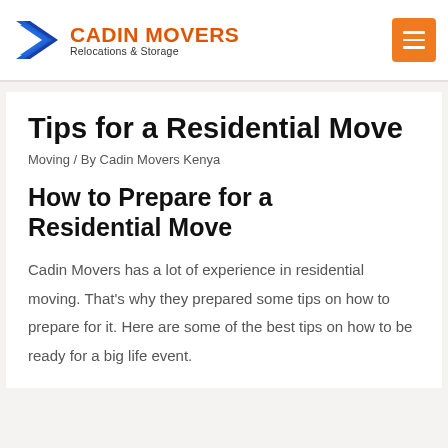[Figure (logo): Cadin Movers logo with blue arrow chevron graphic and orange company name text with tagline Relocations & Storage]
Tips for a Residential Move
Moving / By Cadin Movers Kenya
How to Prepare for a Residential Move
Cadin Movers has a lot of experience in residential moving. That's why they prepared some tips on how to prepare for it. Here are some of the best tips on how to be ready for a big life event.